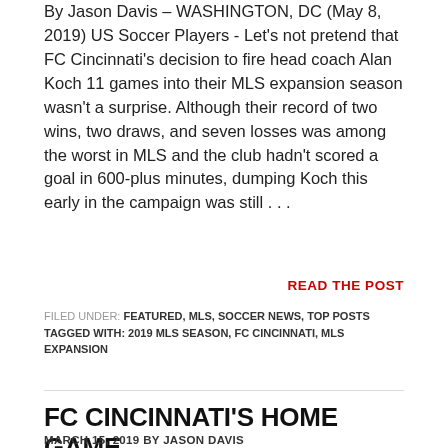By Jason Davis – WASHINGTON, DC (May 8, 2019) US Soccer Players - Let's not pretend that FC Cincinnati's decision to fire head coach Alan Koch 11 games into their MLS expansion season wasn't a surprise. Although their record of two wins, two draws, and seven losses was among the worst in MLS and the club hadn't scored a goal in 600-plus minutes, dumping Koch this early in the campaign was still . . .
READ THE POST
FILED UNDER: FEATURED, MLS, SOCCER NEWS, TOP POSTS TAGGED WITH: 2019 MLS SEASON, FC CINCINNATI, MLS EXPANSION
FC CINCINNATI'S HOME GAME
MARCH 15, 2019 BY JASON DAVIS